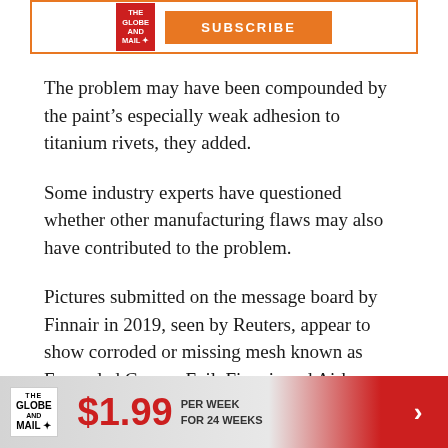[Figure (other): Top advertisement banner with The Globe and Mail logo and orange subscribe button]
The problem may have been compounded by the paint’s especially weak adhesion to titanium rivets, they added.
Some industry experts have questioned whether other manufacturing flaws may also have contributed to the problem.
Pictures submitted on the message board by Finnair in 2019, seen by Reuters, appear to show corroded or missing mesh known as Expanded Copper Foil. Finnair and Airbus declined to comment on the
[Figure (other): Bottom advertisement banner: The Globe and Mail logo, $1.99 per week for 24 weeks, red arrow button]